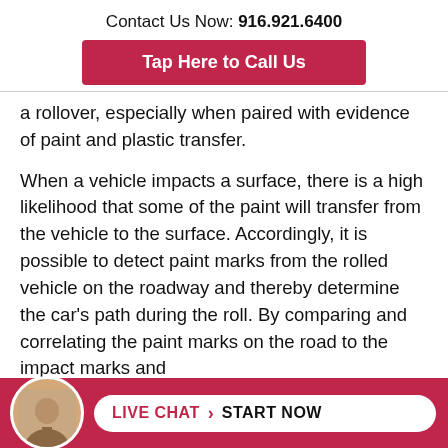Contact Us Now: 916.921.6400
Tap Here to Call Us
a rollover, especially when paired with evidence of paint and plastic transfer.
When a vehicle impacts a surface, there is a high likelihood that some of the paint will transfer from the vehicle to the surface. Accordingly, it is possible to detect paint marks from the rolled vehicle on the roadway and thereby determine the car's path during the roll. By comparing and correlating the paint marks on the road to the impact marks and
LIVE CHAT › START NOW